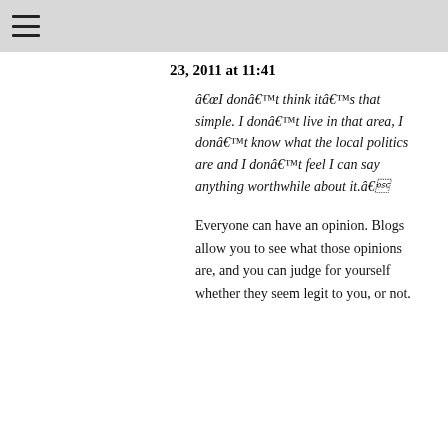≡
23, 2011 at 11:41
âI donât think itâs that simple. I donât live in that area, I donât know what the local politics are and I donât feel I can say anything worthwhile about it.â
Everyone can have an opinion. Blogs allow you to see what those opinions are, and you can judge for yourself whether they seem legit to you, or not.